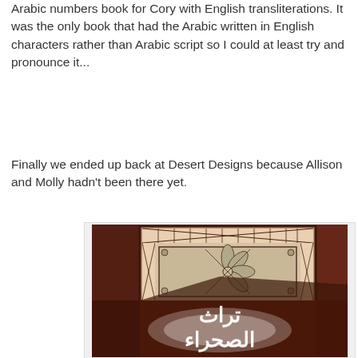Arabic numbers book for Cory with English transliterations. It was the only book that had the Arabic written in English characters rather than Arabic script so I could at least try and pronounce it...
Finally we ended up back at Desert Designs because Allison and Molly hadn't been there yet.
[Figure (photo): Book cover with ornate geometric Arabic pattern tile design at top and Arabic calligraphy text at bottom on a brown textured background]